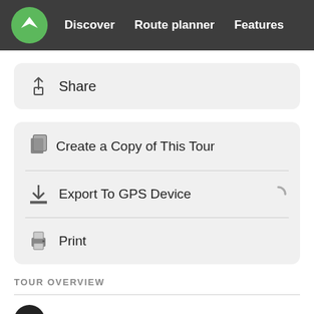Discover  Route planner  Features
Share
Create a Copy of This Tour
Export To GPS Device
Print
TOUR OVERVIEW
Starting Point